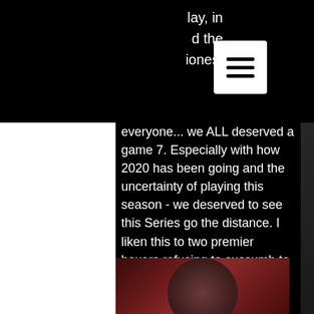THE GRINDHOUSE RADIO
lay, in d the honest
everyone... we ALL deserved a game 7. Especially with how 2020 has been going and the uncertainty of playing this season - we deserved to see this Series go the distance. I liken this to two premier boxers refusing to succumb to the others knockout punch! That is... until Kevin Cash essentially managed his way out of potentially making that happen. Blake Snell had been cruising to the tune of 9 strikeouts while only surrendering one hit and a single run into the
[Figure (photo): Partial bottom photo with reddish/dark tones, appears to show a person or microphone in dark red lighting]